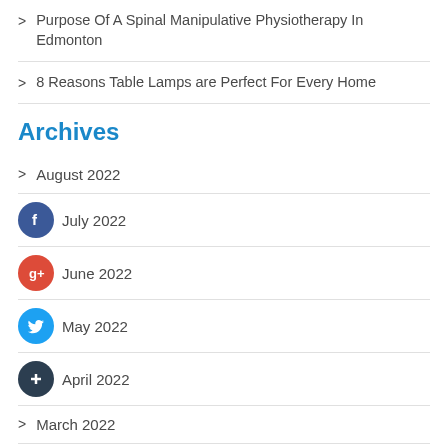> Purpose Of A Spinal Manipulative Physiotherapy In Edmonton
> 8 Reasons Table Lamps are Perfect For Every Home
Archives
> August 2022
July 2022
June 2022
May 2022
April 2022
> March 2022